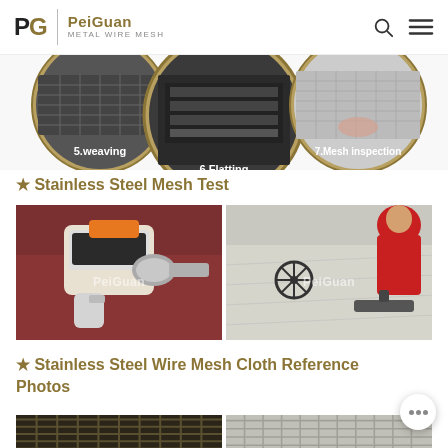PeiGuan Metal Wire Mesh
[Figure (photo): Process flow images showing circular photos labeled: 5.weaving, 6.Flatting, 7.Mesh inspection]
★ Stainless Steel Mesh Test
[Figure (photo): Two photos side by side: left shows worker using handheld XRF analyzer on steel mesh/pipe, right shows worker inspecting flat stainless steel mesh surface with optical tool. Both have PeiGuan watermark.]
★ Stainless Steel Wire Mesh Cloth Reference Photos